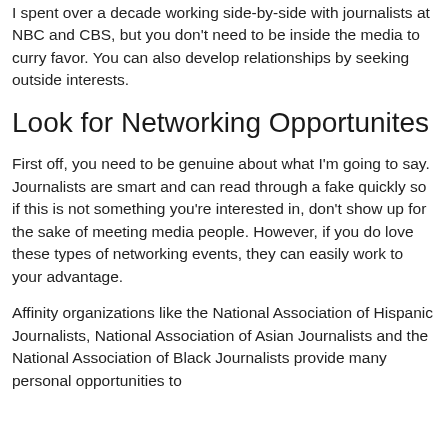I spent over a decade working side-by-side with journalists at NBC and CBS, but you don't need to be inside the media to curry favor. You can also develop relationships by seeking outside interests.
Look for Networking Opportunites
First off, you need to be genuine about what I'm going to say. Journalists are smart and can read through a fake quickly so if this is not something you're interested in, don't show up for the sake of meeting media people. However, if you do love these types of networking events, they can easily work to your advantage.
Affinity organizations like the National Association of Hispanic Journalists, National Association of Asian Journalists and the National Association of Black Journalists provide many personal opportunities to